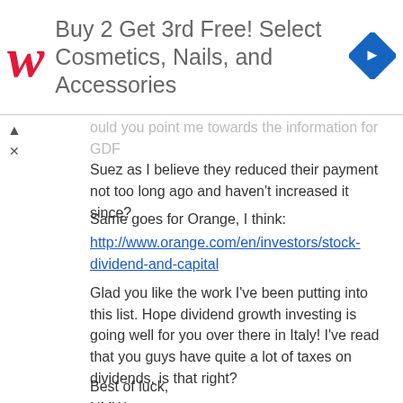[Figure (other): Walgreens advertisement banner: 'Buy 2 Get 3rd Free! Select Cosmetics, Nails, and Accessories' with Walgreens logo and navigation icon]
ould you point me towards the information for GDF Suez as I believe they reduced their payment not too long ago and haven't increased it since?
Same goes for Orange, I think:
http://www.orange.com/en/investors/stock-dividend-and-capital
Glad you like the work I've been putting into this list. Hope dividend growth investing is going well for you over there in Italy! I've read that you guys have quite a lot of taxes on dividends, is that right?
Best of luck,
NMW